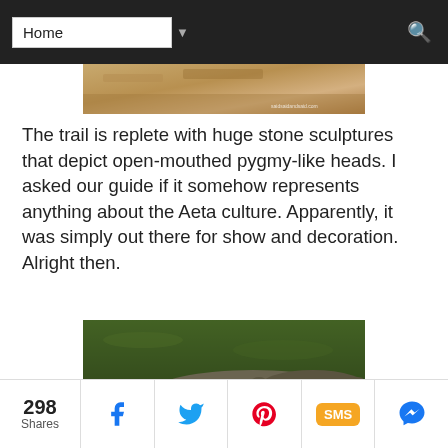Home (navigation dropdown)
[Figure (photo): Partial view of a stone path or sculpture with warm golden-brown tones, partially visible at top of page]
The trail is replete with huge stone sculptures that depict open-mouthed pygmy-like heads. I asked our guide if it somehow represents anything about the Aeta culture. Apparently, it was simply out there for show and decoration. Alright then.
[Figure (photo): A crocodile with its mouth open, resting on a concrete ledge near water with green reflections in the background]
298 Shares | Facebook | Twitter | Pinterest | SMS | Messenger